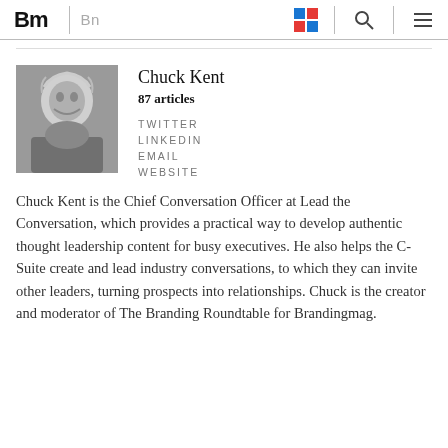Bm | Bn
Chuck Kent
87 articles
TWITTER
LINKEDIN
EMAIL
WEBSITE
Chuck Kent is the Chief Conversation Officer at Lead the Conversation, which provides a practical way to develop authentic thought leadership content for busy executives. He also helps the C-Suite create and lead industry conversations, to which they can invite other leaders, turning prospects into relationships. Chuck is the creator and moderator of The Branding Roundtable for Brandingmag.